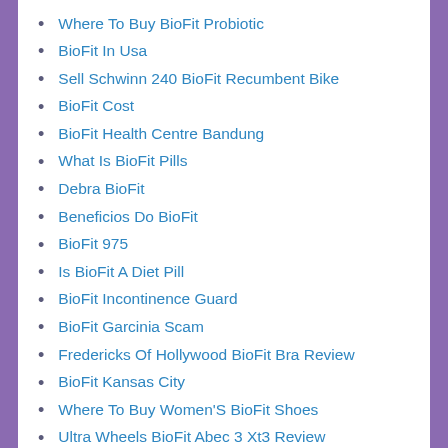Where To Buy BioFit Probiotic
BioFit In Usa
Sell Schwinn 240 BioFit Recumbent Bike
BioFit Cost
BioFit Health Centre Bandung
What Is BioFit Pills
Debra BioFit
Beneficios Do BioFit
BioFit 975
Is BioFit A Diet Pill
BioFit Incontinence Guard
BioFit Garcinia Scam
Fredericks Of Hollywood BioFit Bra Review
BioFit Kansas City
Where To Buy Women'S BioFit Shoes
Ultra Wheels BioFit Abec 3 Xt3 Review
Schwinn BioFit 25
Jay Vincent BioFit Facebook